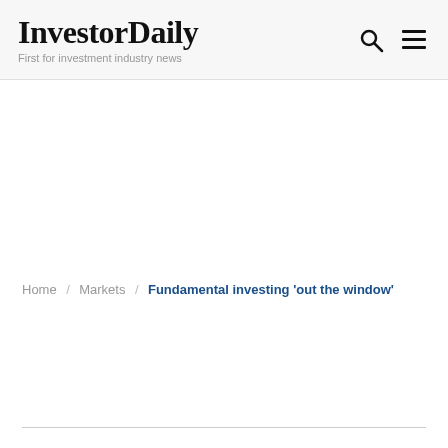InvestorDaily — First for investment industry news
Home / Markets / Fundamental investing 'out the window'
Fundamental investing 'out the window'